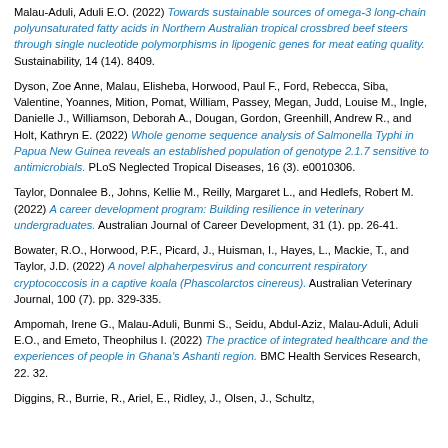Malau-Aduli, Aduli E.O. (2022) Towards sustainable sources of omega-3 long-chain polyunsaturated fatty acids in Northern Australian tropical crossbred beef steers through single nucleotide polymorphisms in lipogenic genes for meat eating quality. Sustainability, 14 (14). 8409.
Dyson, Zoe Anne, Malau, Elisheba, Horwood, Paul F., Ford, Rebecca, Siba, Valentine, Yoannes, Mition, Pomat, William, Passey, Megan, Judd, Louise M., Ingle, Danielle J., Williamson, Deborah A., Dougan, Gordon, Greenhill, Andrew R., and Holt, Kathryn E. (2022) Whole genome sequence analysis of Salmonella Typhi in Papua New Guinea reveals an established population of genotype 2.1.7 sensitive to antimicrobials. PLoS Neglected Tropical Diseases, 16 (3). e0010306.
Taylor, Donnalee B., Johns, Kellie M., Reilly, Margaret L., and Hedlefs, Robert M. (2022) A career development program: Building resilience in veterinary undergraduates. Australian Journal of Career Development, 31 (1). pp. 26-41.
Bowater, R.O., Horwood, P.F., Picard, J., Huisman, I., Hayes, L., Mackie, T., and Taylor, J.D. (2022) A novel alphaherpesvirus and concurrent respiratory cryptococcosis in a captive koala (Phascolarctos cinereus). Australian Veterinary Journal, 100 (7). pp. 329-335.
Ampomah, Irene G., Malau-Aduli, Bunmi S., Seidu, Abdul-Aziz, Malau-Aduli, Aduli E.O., and Emeto, Theophilus I. (2022) The practice of integrated healthcare and the experiences of people in Ghana's Ashanti region. BMC Health Services Research, 22. 32.
Diggins, R., Burrie, R., Ariel, E., Ridley, J., Olsen, J., Schultz,